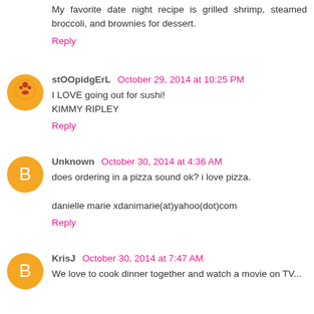My favorite date night recipe is grilled shrimp, steamed broccoli, and brownies for dessert.
Reply
stOOpidgErL  October 29, 2014 at 10:25 PM
I LOVE going out for sushi!
KIMMY RIPLEY
Reply
Unknown  October 30, 2014 at 4:36 AM
does ordering in a pizza sound ok? i love pizza.

danielle marie xdanimarie(at)yahoo(dot)com
Reply
KrisJ  October 30, 2014 at 7:47 AM
We love to cook dinner together and watch a movie on TV...